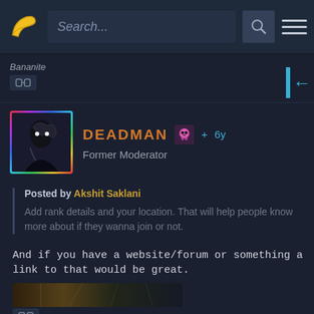Search... [search bar] [hamburger menu]
Bananite
[Figure (screenshot): Profile section showing DEADMAN, Former Moderator, with rainbow-bordered avatar, skull icon, and +6y indicator]
Posted by Akshit Saklani
Add rank details and your location. That will help people know more about if they wanna join or not.
And if you have a website/forum or something a link to that would be great.
[Figure (photo): Dark sci-fi scene thumbnail at bottom]